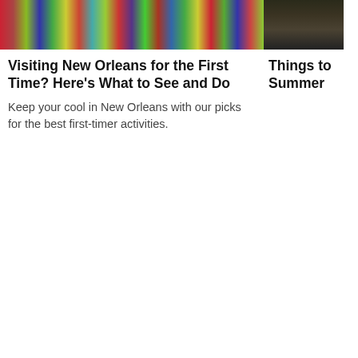[Figure (photo): Colorful Mardi Gras beads in red, green, blue, purple, yellow — close-up photo]
[Figure (photo): Dark tree or forest background — partially visible]
Visiting New Orleans for the First Time? Here's What to See and Do
Things to Summer
Keep your cool in New Orleans with our picks for the best first-timer activities.
When to get there
The hotel accepts reservations 365 days a year and the Carousel Bar is open from 11am until midnight. Check-in time is 4pm and checkout time is 12pm.
Show all